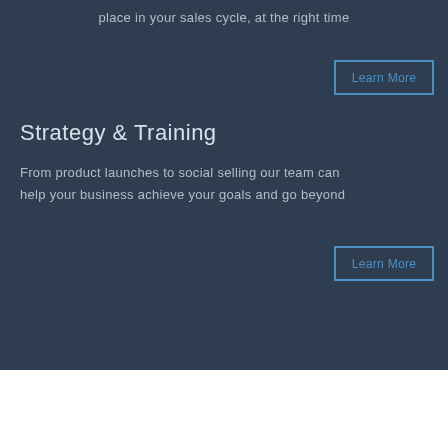place in your sales cycle, at the right time
Learn More
Strategy & Training
From product launches to social selling our team can help your business achieve your goals and go beyond
Learn More